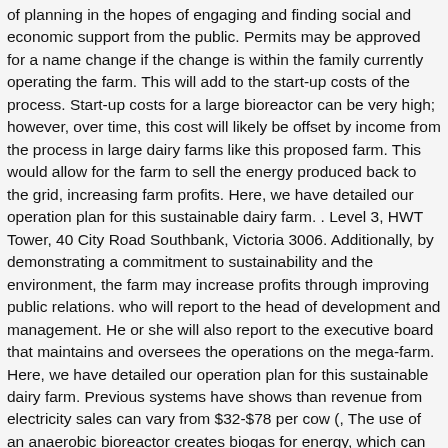of planning in the hopes of engaging and finding social and economic support from the public. Permits may be approved for a name change if the change is within the family currently operating the farm. This will add to the start-up costs of the process. Start-up costs for a large bioreactor can be very high; however, over time, this cost will likely be offset by income from the process in large dairy farms like this proposed farm. This would allow for the farm to sell the energy produced back to the grid, increasing farm profits. Here, we have detailed our operation plan for this sustainable dairy farm. . Level 3, HWT Tower, 40 City Road Southbank, Victoria 3006. Additionally, by demonstrating a commitment to sustainability and the environment, the farm may increase profits through improving public relations. who will report to the head of development and management. He or she will also report to the executive board that maintains and oversees the operations on the mega-farm. Here, we have detailed our operation plan for this sustainable dairy farm. Previous systems have shows than revenue from electricity sales can vary from $32-$78 per cow (, The use of an anaerobic bioreactor creates biogas for energy, which can be used to create additional products for the farm and allow the farm to make a profit from markets that would otherwise not be used. Emissions of carbon dioxide, methane, and nitrous oxide result from the cattle's digestive processes (as well as from burning fuel for farm equipment